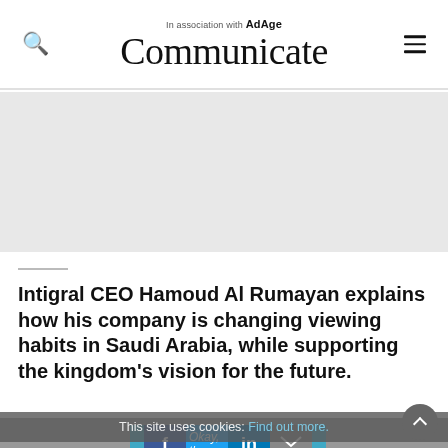Communicate — In association with AdAge
[Figure (other): Gray advertisement/banner placeholder area]
Intigral CEO Hamoud Al Rumayan explains how his company is changing viewing habits in Saudi Arabia, while supporting the kingdom’s vision for the future.
[Figure (photo): Partial bottom image of a person, partially covered by cookie consent overlay and social share buttons]